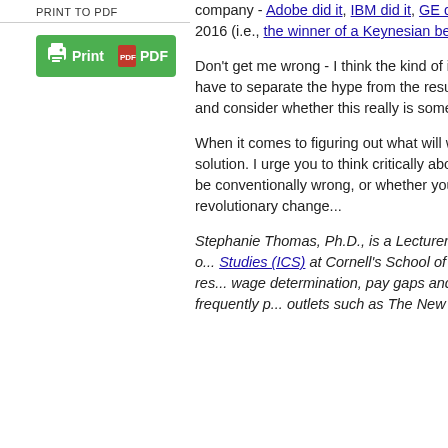PRINT TO PDF
[Figure (other): Green Print/PDF button with printer and PDF icons]
company - Adobe did it, IBM did it, GE did it... work, you can be "conventionally wrong..." 2016 (i.e., the winner of a Keynesian bea...
Don't get me wrong - I think the kind of information resources like Payscale's can be incredibly... have to separate the hype from the results... just such a separation as it relates to cutting edge... and consider whether this really is some...
When it comes to figuring out what will work at a particular moment in time, there is no single solution. I urge you to think critically about a best practices trail, loaded with feel-good phenomena... be conventionally wrong, or whether you... explore off the beaten best practices trail... revolutionary change...
Stephanie Thomas, Ph.D., is a Lecturer at Cornell University and Program Director of Institutional Compensation Studies (ICS) at Cornell's School of Industrial... her career, Stephanie has completed research on wage determination, pay gaps and inequity... compensation systems. She frequently provides outlets such as The New York Times, CB...